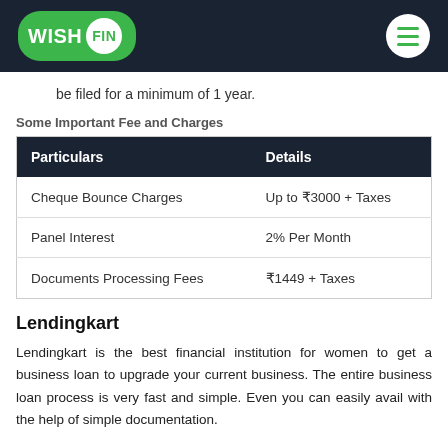WISH FIN
be filed for a minimum of 1 year.
Some Important Fee and Charges
| Particulars | Details |
| --- | --- |
| Cheque Bounce Charges | Up to ₹3000 + Taxes |
| Panel Interest | 2% Per Month |
| Documents Processing Fees | ₹1449 + Taxes |
Lendingkart
Lendingkart is the best financial institution for women to get a business loan to upgrade your current business. The entire business loan process is very fast and simple. Even you can easily avail with the help of simple documentation.